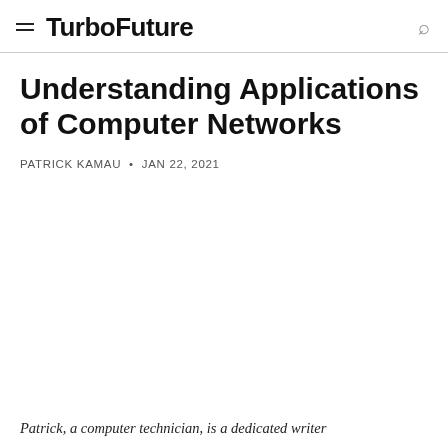TurboFuture
Understanding Applications of Computer Networks
PATRICK KAMAU • JAN 22, 2021
Patrick, a computer technician, is a dedicated writer